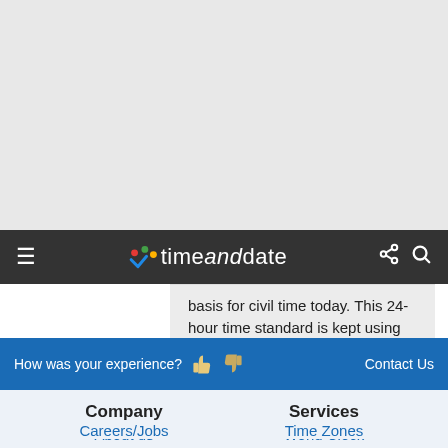timeanddate
basis for civil time today. This 24-hour time standard is kept using highly precise atomic clocks combined with the Earth's rotation.
How was your experience? 👍 👎  Contact Us
Company
Services
About us
World Clock
Careers/Jobs
Time Zones
Contact Us
Calendar